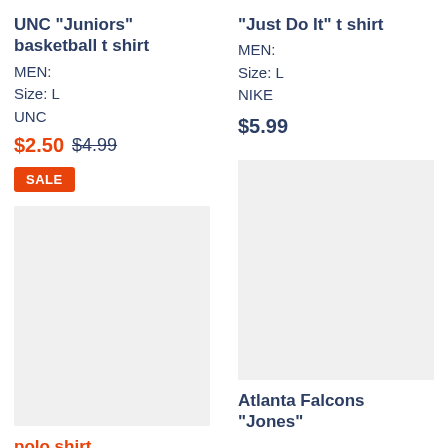UNC "Juniors" basketball t shirt
MEN:
Size: L
UNC
$2.50  $4.99
SALE
[Figure (photo): Gray placeholder image for polo shirt product]
polo shirt
"Just Do It" t shirt
MEN:
Size: L
NIKE
$5.99
[Figure (photo): Gray placeholder image for Atlanta Falcons Jones product]
Atlanta Falcons "Jones"